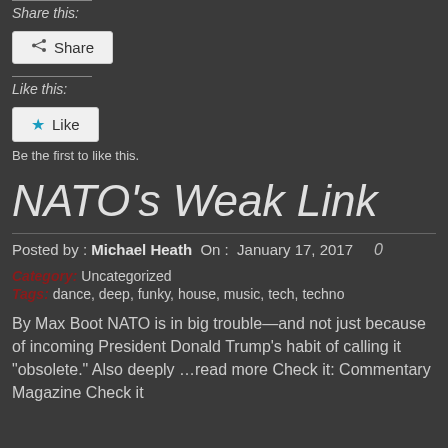Share this:
Share
Like this:
Like
Be the first to like this.
NATO’s Weak Link
Posted by : Michael Heath  On :  January 17, 2017   0
Category: Uncategorized
Tags: dance, deep, funky, house, music, tech, techno
By Max Boot NATO is in big trouble—and not just because of incoming President Donald Trump’s habit of calling it “obsolete.” Also deeply …read more Check it: Commentary Magazine Check it